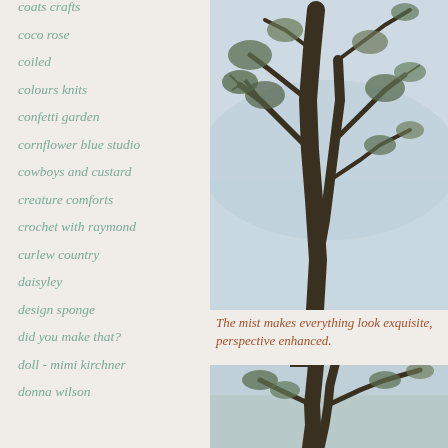coats crafts
coco rose
coiled
colours knits
confetti garden
cornflower blue studio
cowboys and custard
creature comforts
crochet with raymond
curlew country
daisyley
design sponge
did you make that?
doll - mimi kirchner
donna wilson
[Figure (photo): A misty winter tree with bare and semi-bare branches against a foggy grey sky]
The mist makes everything look exquisite, perspective enhanced.
[Figure (photo): A second misty winter tree photograph, similar foggy scene]